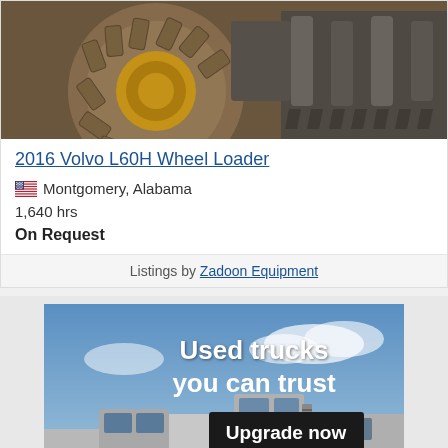[Figure (photo): Close-up photo of a wheel loader tire with yellow rim and construction equipment bucket/attachment with teeth visible]
2016 Volvo L60H Wheel Loader
🇺🇸 Montgomery, Alabama
1,640 hrs
On Request
Listings by Zadoon Equipment
[Figure (photo): Advertisement banner showing used semi trucks with text 'Used trucks you can trust' and 'Upgrade now' button]
Back to top